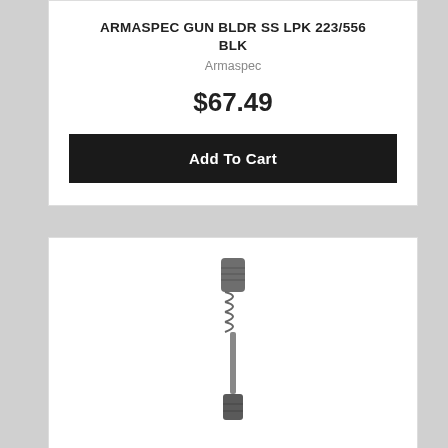ARMASPEC GUN BLDR SS LPK 223/556 BLK
Armaspec
$67.49
Add To Cart
[Figure (photo): Photo of a small metal firearm recoil spring assembly with cylindrical ends]
ARMASPEC STEALTH RECOIL SPRING H